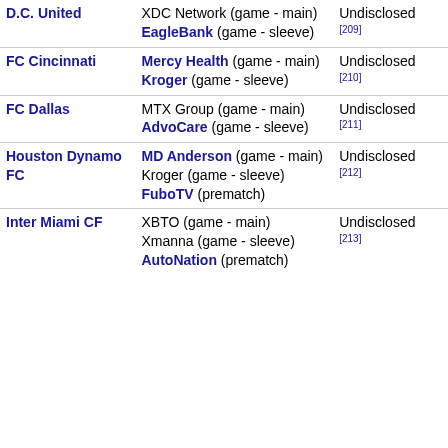| Team | Sponsor | Amount |
| --- | --- | --- |
| D.C. United | XDC Network (game - main)
EagleBank (game - sleeve) | Undisclosed [209] |
| FC Cincinnati | Mercy Health (game - main)
Kroger (game - sleeve) | Undisclosed [210] |
| FC Dallas | MTX Group (game - main)
AdvoCare (game - sleeve) | Undisclosed [211] |
| Houston Dynamo FC | MD Anderson (game - main)
Kroger (game - sleeve)
FuboTV (prematch) | Undisclosed [212] |
| Inter Miami CF | XBTO (game - main)
Xmanna (game - sleeve)
AutoNation (prematch) | Undisclosed [213] |